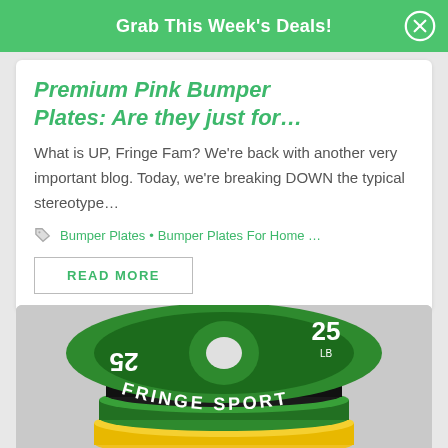Grab This Week's Deals!
Premium Pink Bumper Plates: Are they just for…
What is UP, Fringe Fam? We're back with another very important blog. Today, we're breaking DOWN the typical stereotype…
Bumper Plates • Bumper Plates For Home …
READ MORE
[Figure (photo): Green Fringe Sport 25 LB bumper plates stacked on barbell with grey, black, and yellow plates visible below]